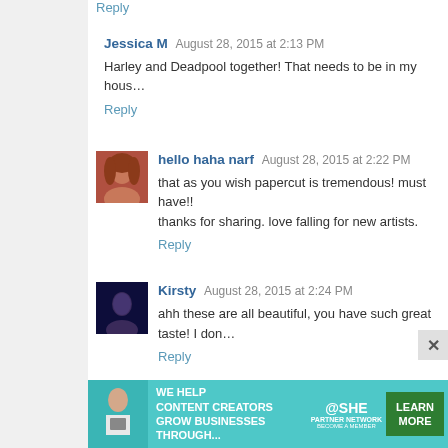Reply
Jessica M  August 28, 2015 at 2:13 PM
Harley and Deadpool together! That needs to be in my hous…
Reply
hello haha narf  August 28, 2015 at 2:22 PM
that as you wish papercut is tremendous! must have!! thanks for sharing. love falling for new artists.
Reply
Kirsty  August 28, 2015 at 2:24 PM
ahh these are all beautiful, you have such great taste! I don…
Reply
Dasmandible  August 28, 2015 at 2:29 PM
Love Love the paper cut outs. I have a TON of Chine…
[Figure (infographic): Advertisement banner for SHE Media Partner Network with text 'WE HELP CONTENT CREATORS GROW BUSINESSES THROUGH...' and LEARN MORE button]